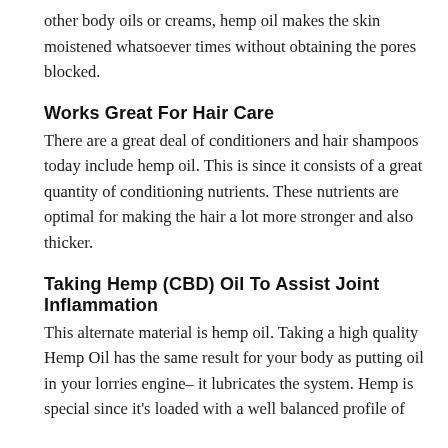other body oils or creams, hemp oil makes the skin moistened whatsoever times without obtaining the pores blocked.
Works Great For Hair Care
There are a great deal of conditioners and hair shampoos today include hemp oil. This is since it consists of a great quantity of conditioning nutrients. These nutrients are optimal for making the hair a lot more stronger and also thicker.
Taking Hemp (CBD) Oil To Assist Joint Inflammation
This alternate material is hemp oil. Taking a high quality Hemp Oil has the same result for your body as putting oil in your lorries engine– it lubricates the system. Hemp is special since it's loaded with a well balanced profile of